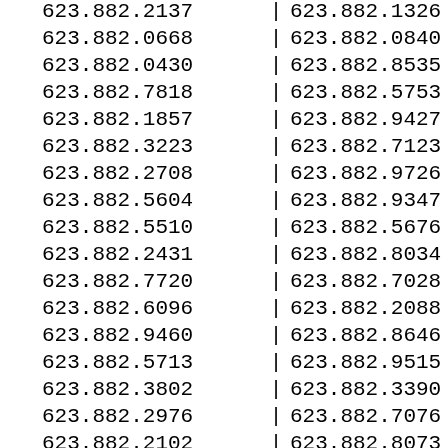| 623.882.2137 | | | 623.882.1326 | | |
| 623.882.0668 | | | 623.882.0840 | | |
| 623.882.0430 | | | 623.882.8535 | | |
| 623.882.7818 | | | 623.882.5753 | | |
| 623.882.1857 | | | 623.882.9427 | | |
| 623.882.3223 | | | 623.882.7123 | | |
| 623.882.2708 | | | 623.882.9726 | | |
| 623.882.5604 | | | 623.882.9347 | | |
| 623.882.5510 | | | 623.882.5676 | | |
| 623.882.2431 | | | 623.882.8034 | | |
| 623.882.7720 | | | 623.882.7028 | | |
| 623.882.6096 | | | 623.882.2088 | | |
| 623.882.9460 | | | 623.882.8646 | | |
| 623.882.5713 | | | 623.882.9515 | | |
| 623.882.3802 | | | 623.882.3390 | | |
| 623.882.2976 | | | 623.882.7076 | | |
| 623.882.2102 | | | 623.882.8073 | | |
| 623.882.9141 | | | 623.882.0524 | | |
| 623.882.0068 | | | 623.882.0560 | | |